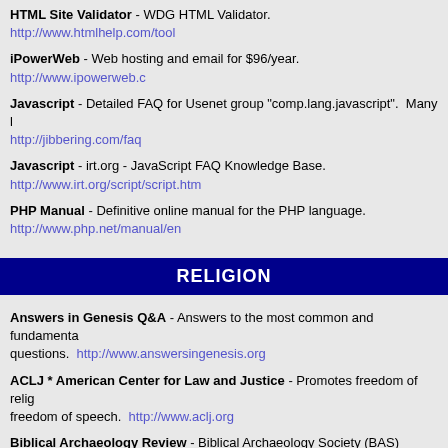HTML Site Validator - WDG HTML Validator. http://www.htmlhelp.com/tool
iPowerWeb - Web hosting and email for $96/year. http://www.ipowerweb.c
Javascript - Detailed FAQ for Usenet group "comp.lang.javascript". Many l http://jibbering.com/faq
Javascript - irt.org - JavaScript FAQ Knowledge Base. http://www.irt.org/script/script.htm
PHP Manual - Definitive online manual for the PHP language. http://www.php.net/manual/en
RELIGION
Answers in Genesis Q&A - Answers to the most common and fundamental questions. http://www.answersingenesis.org
ACLJ * American Center for Law and Justice - Promotes freedom of relig freedom of speech. http://www.aclj.org
Biblical Archaeology Review - Biblical Archaeology Society (BAS) publish Archaeology Review, Bible Review, and Archaeology Odyssey. http://www.b
Christian Book Distributors (CBD) - Low prices on Christian books, music videos, software and gifts. http://www.christianbook.com
Faith2Action - Current issues impacting a Christian's life. http://www.f2a.o
Institute for Creation Research - Information about creation, evolution, ori http://www.icr.org